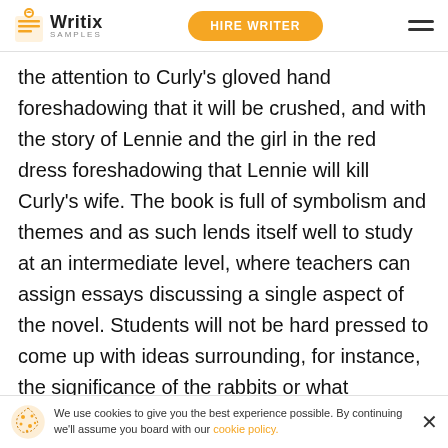Writix Samples | HIRE WRITER
the attention to Curly's gloved hand foreshadowing that it will be crushed, and with the story of Lennie and the girl in the red dress foreshadowing that Lennie will kill Curly's wife. The book is full of symbolism and themes and as such lends itself well to study at an intermediate level, where teachers can assign essays discussing a single aspect of the novel. Students will not be hard pressed to come up with ideas surrounding, for instance, the significance of the rabbits or what Steinbeck is saying about the American Dream. It is also a springing off point to discussing not just liter
We use cookies to give you the best experience possible. By continuing we'll assume you board with our cookie policy.